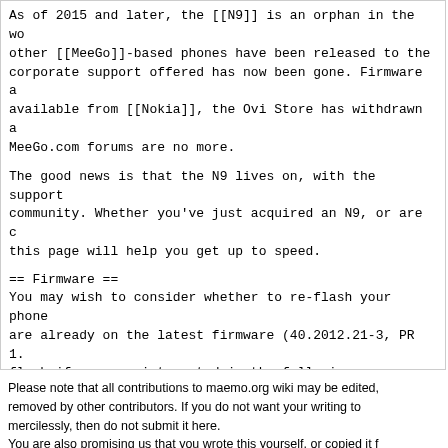As of 2015 and later, the [[N9]] is an orphan in the wo other [[MeeGo]]-based phones have been released to the corporate support offered has now been gone. Firmware a available from [[Nokia]], the Ovi Store has withdrawn a MeeGo.com forums are no more.
The good news is that the N9 lives on, with the support community. Whether you've just acquired an N9, or are c this page will help you get up to speed.
== Firmware ==
You may wish to consider whether to re-flash your phone are already on the latest firmware (40.2012.21-3, PR 1. flash if you are interested in the following:
'''Open-Mode Kernel''' disables Nokia's Aegis securit to install on a freshly re-flashed device.
'''[[Ubiboot]]''' allows you to boot alternative kern Requires the use of the Open-Mode kernel.
'''Changing Firmware Variant''', e.g. in order to gai There are limitations to which firmware variants you ca [[Flashing N9]] for further details.
Please note that all contributions to maemo.org wiki may be edited, removed by other contributors. If you do not want your writing to mercilessly, then do not submit it here. You are also promising us that you wrote this yourself, or copied it f